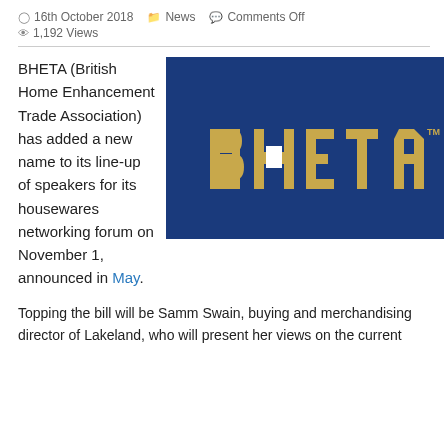16th October 2018   News   Comments Off   1,192 Views
BHETA (British Home Enhancement Trade Association) has added a new name to its line-up of speakers for its housewares networking forum on November 1, announced in May.
[Figure (logo): BHETA logo — gold letters on dark blue square background with trademark symbol]
Topping the bill will be Samm Swain, buying and merchandising director of Lakeland, who will present her views on the current market and how consumer trends are influencing buyer sentiment.